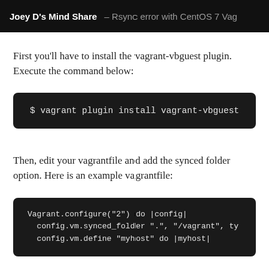Joey D's Mind Share – Rsync error with CentOS 7 Vag
First you'll have to install the vagrant-vbguest plugin. Execute the command below:
[Figure (screenshot): Dark code block showing terminal command: $ vagrant plugin install vagrant-vbguest]
Then, edit your vagrantfile and add the synced folder option. Here is an example vagrantfile:
[Figure (screenshot): Dark code block showing vagrantfile example: Vagrant.configure("2") do |config|
  config.vm.synced_folder ".", "/vagrant", ty
  config.vm.define "myhost" do |myhost|]